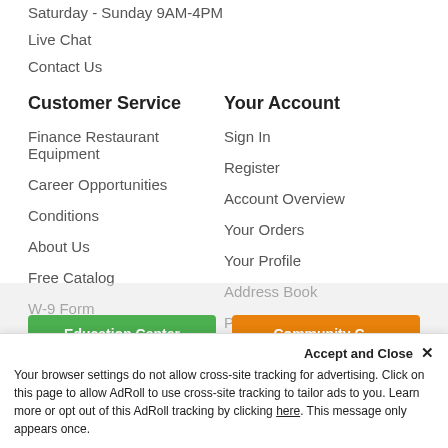Saturday - Sunday 9AM-4PM
Live Chat
Contact Us
Customer Service
Finance Restaurant Equipment
Career Opportunities
Conditions
About Us
Free Catalog
W-9 Form
Your Account
Sign In
Register
Account Overview
Your Orders
Your Profile
Address Book
Payment Methods
[Figure (screenshot): Two buttons: green 'Education Center' button and orange 'Community Center' button]
Accept and Close ✕ Your browser settings do not allow cross-site tracking for advertising. Click on this page to allow AdRoll to use cross-site tracking to tailor ads to you. Learn more or opt out of this AdRoll tracking by clicking here. This message only appears once.